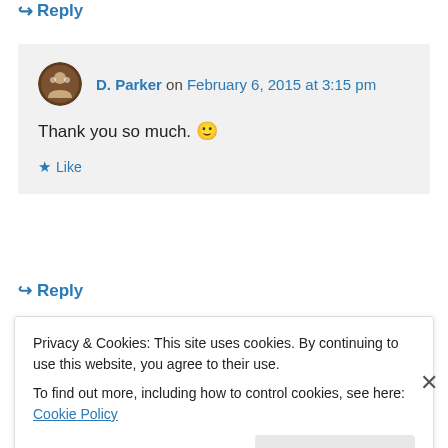↪ Reply
D. Parker on February 6, 2015 at 3:15 pm
Thank you so much. 🙂
★ Like
↪ Reply
Advertisements
[Figure (other): DuckDuckGo advertisement banner: Search, browse, and email with more privacy. All in One Free App.]
Privacy & Cookies: This site uses cookies. By continuing to use this website, you agree to their use.
To find out more, including how to control cookies, see here: Cookie Policy
Close and accept